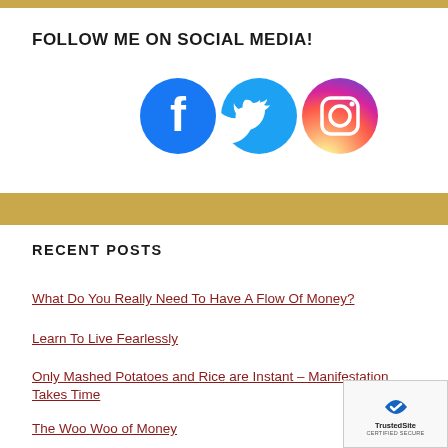FOLLOW ME ON SOCIAL MEDIA!
[Figure (illustration): Three social media icons: Facebook (blue circle with white f), Twitter (cyan circle with white bird), Instagram (gradient circle with camera icon)]
RECENT POSTS
What Do You Really Need To Have A Flow Of Money?
Learn To Live Fearlessly
Only Mashed Potatoes and Rice are Instant – Manifestation Takes Time
The Woo Woo of Money